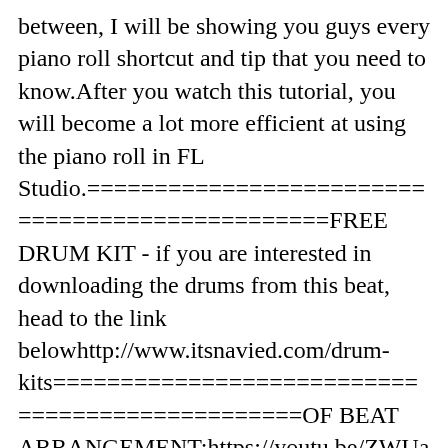between, I will be showing you guys every piano roll shortcut and tip that you need to know.After you watch this tutorial, you will become a lot more efficient at using the piano roll in FL Studio.================================================FREE DRUM KIT - if you are interested in downloading the drums from this beat, head to the link belowhttp://www.itsnavied.com/drum-kits================================================OF BEAT ARRANGEMENT:https://youtu.be/ZWUavd7vLlQLCDRUM PATTERNShttps://youtu.be/Ig99cEekJiQTHE